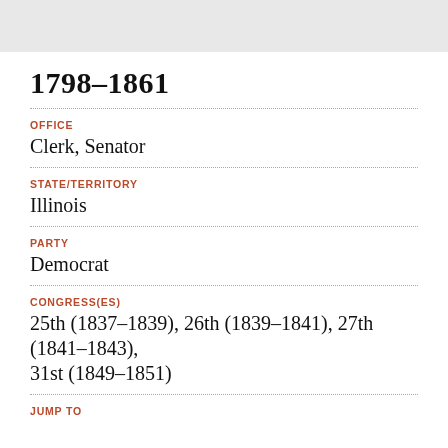1798–1861
OFFICE
Clerk, Senator
STATE/TERRITORY
Illinois
PARTY
Democrat
CONGRESS(ES)
25th (1837–1839), 26th (1839–1841), 27th (1841–1843), 31st (1849–1851)
JUMP TO